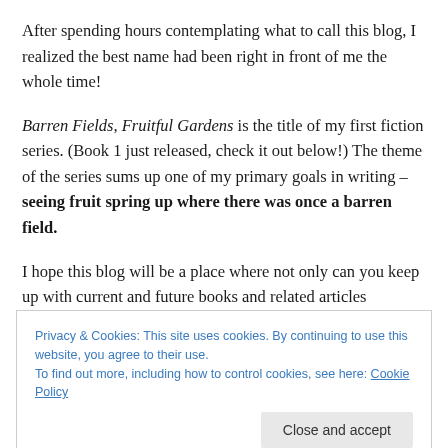After spending hours contemplating what to call this blog, I realized the best name had been right in front of me the whole time!
Barren Fields, Fruitful Gardens is the title of my first fiction series. (Book 1 just released, check it out below!) The theme of the series sums up one of my primary goals in writing – seeing fruit spring up where there was once a barren field.
I hope this blog will be a place where not only can you keep up with current and future books and related articles
Privacy & Cookies: This site uses cookies. By continuing to use this website, you agree to their use.
To find out more, including how to control cookies, see here: Cookie Policy
temperance; and to temperance patience; and to patience